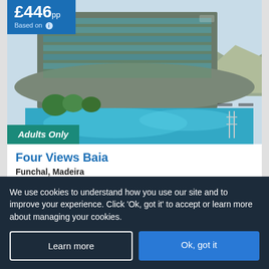[Figure (photo): Hotel with modern glass facade and outdoor swimming pool, mountains in background]
£446pp
Based on ℹ
Adults Only
Four Views Baia
Funchal, Madeira
★★★
Our rating
Based on 1094 reviews
0.4 Km to Sao Lourenco Palace
We use cookies to understand how you use our site and to improve your experience. Click 'Ok, got it' to accept or learn more about managing your cookies.
Learn more
Ok, got it